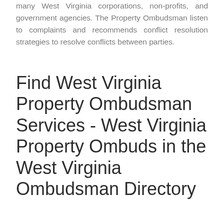many West Virginia corporations, non-profits, and government agencies. The Property Ombudsman listen to complaints and recommends conflict resolution strategies to resolve conflicts between parties.
Find West Virginia Property Ombudsman Services - West Virginia Property Ombuds in the West Virginia Ombudsman Directory